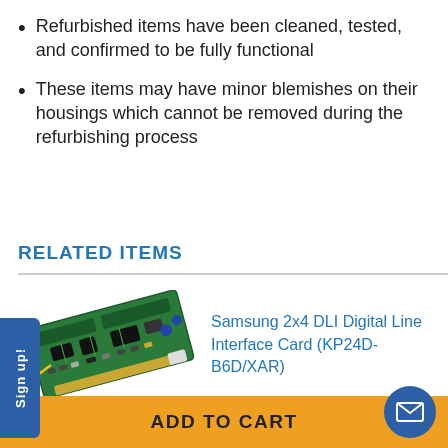Refurbished items have been cleaned, tested, and confirmed to be fully functional
These items may have minor blemishes on their housings which cannot be removed during the refurbishing process
RELATED ITEMS
[Figure (photo): Samsung 2x4 DLI Digital Line Interface Card (KP24D-B6D/XAR) product photo showing a green PCB circuit board]
Samsung 2x4 DLI Digital Line Interface Card (KP24D-B6D/XAR)
ADD TO CART